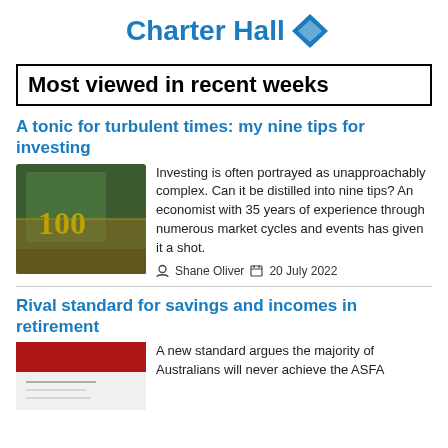[Figure (logo): Charter Hall logo with blue text and diamond icon]
Most viewed in recent weeks
A tonic for turbulent times: my nine tips for investing
[Figure (photo): Close-up of Australian $100 banknote]
Investing is often portrayed as unapproachably complex. Can it be distilled into nine tips? An economist with 35 years of experience through numerous market cycles and events has given it a shot.
Shane Oliver  20 July 2022
Rival standard for savings and incomes in retirement
[Figure (photo): Partially visible image related to retirement savings]
A new standard argues the majority of Australians will never achieve the ASFA